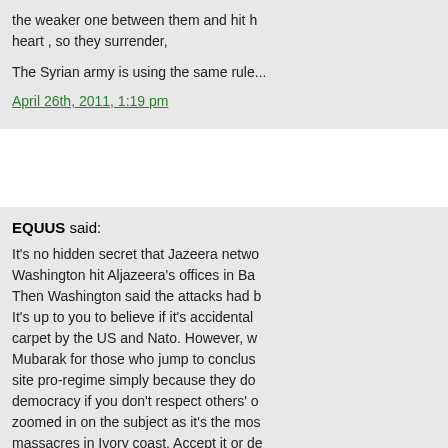the weaker one between them and hit h... heart , so they surrender,

The Syrian army is using the same rule...
April 26th, 2011, 1:19 pm
EQUUS said:
It's no hidden secret that Jazeera netwo... Washington hit Aljazeera's offices in Ba... Then Washington said the attacks had b... It's up to you to believe if it's accidental... carpet by the US and Nato. However, w... Mubarak for those who jump to conclus... site pro-regime simply because they do... democracy if you don't respect others' o... zoomed in on the subject as it's the mos... massacres in Ivory coast. Accept it or de... brainwashing certain category of people... uprising. Al Jazeera claims to have 40 m... these networks proclaiming to report ac...
April 26th, 2011, 1:48 pm
JERUSALEM said:
Just a note for those who keep asking n...

How about you let the reader decides fo... to take into consideration or what to dis...